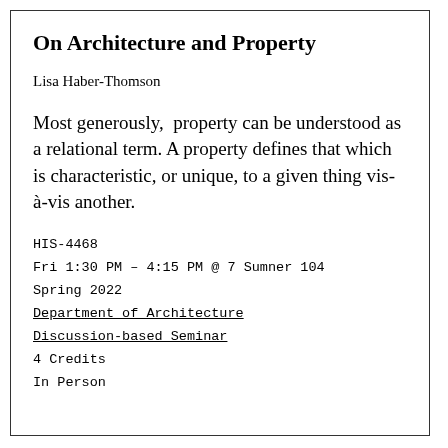On Architecture and Property
Lisa Haber-Thomson
Most generously, property can be understood as a relational term. A property defines that which is characteristic, or unique, to a given thing vis-à-vis another.
HIS-4468
Fri 1:30 PM – 4:15 PM @ 7 Sumner 104
Spring 2022
Department of Architecture
Discussion-based Seminar
4 Credits
In Person